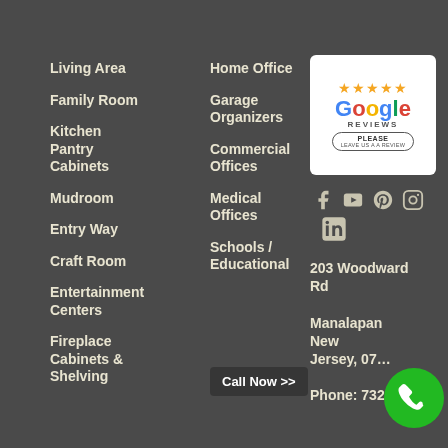Living Area
Family Room
Kitchen Pantry Cabinets
Mudroom
Entry Way
Craft Room
Entertainment Centers
Fireplace Cabinets & Shelving
Home Office
Garage Organizers
Commercial Offices
Medical Offices
Schools / Educational
[Figure (logo): Google Reviews logo with 5 stars and 'Please Leave Us A Review' button]
[Figure (infographic): Social media icons: Facebook, YouTube, Pinterest, Instagram, LinkedIn]
203 Woodward Rd Manalanan, New Jersey, 07...
Phone: 732-607-
Call Now >>